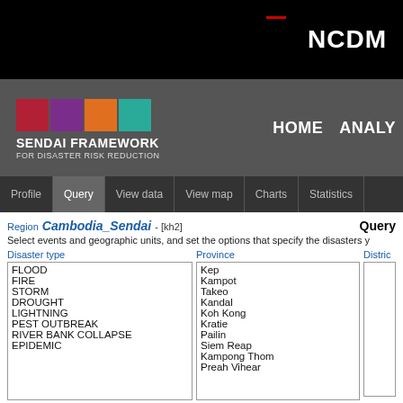NCDM
[Figure (logo): Sendai Framework for Disaster Risk Reduction logo with four colored blocks (red, purple, orange, teal)]
SENDAI FRAMEWORK FOR DISASTER RISK REDUCTION
HOME  ANALY
Profile  Query  View data  View map  Charts  Statistics
Region Cambodia_Sendai - [kh2]  Query
Select events and geographic units, and set the options that specify the disasters y
| Disaster type | Province | Distric |
| --- | --- | --- |
| FLOOD | Kep |  |
| FIRE | Kampot |  |
| STORM | Takeo |  |
| DROUGHT | Kandal |  |
| LIGHTNING | Koh Kong |  |
| PEST OUTBREAK | Kratie |  |
| RIVER BANK COLLAPSE | Pailin |  |
| EPIDEMIC | Siem Reap |  |
|  | Kampong Thom |  |
|  | Preah Vihear |  |